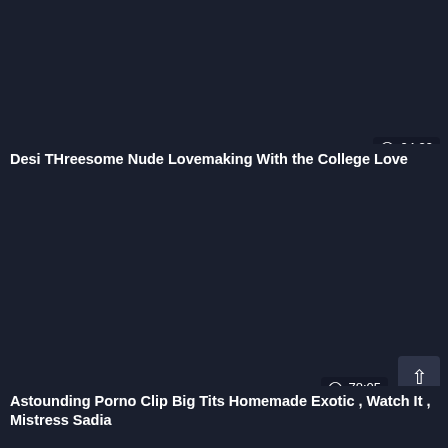[Figure (screenshot): Dark thumbnail area for video card 1]
04:29
Desi THreesome Nude Lovemaking With the College Love
[Figure (screenshot): Dark thumbnail area for video card 2]
78:05
Astounding Porno Clip Big Tits Homemade Exotic , Watch It , Mistress Sadia